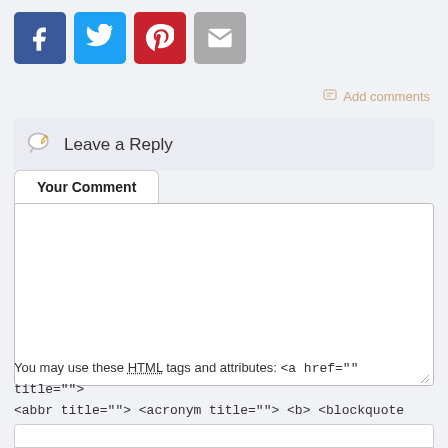[Figure (other): Social sharing buttons: Facebook (blue), Twitter (light blue), Pinterest (red), Email (gray)]
Add comments
Leave a Reply
Your Comment
You may use these HTML tags and attributes: <a href="" title=""> <abbr title=""> <acronym title=""> <b> <blockquote cite=""> <cite> <code> <del datetime=""> <em> <i> <q cite=""> <s> <strike> <strong>